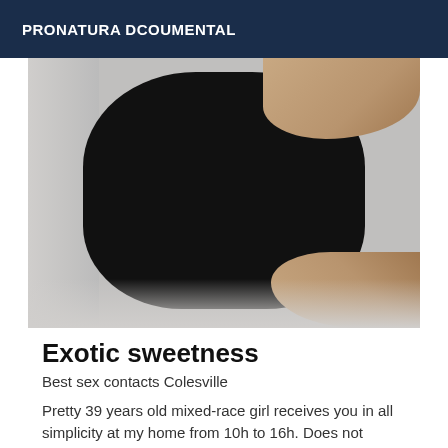PRONATURA DCOUMENTAL
[Figure (photo): A person wearing a black dress or outfit, photographed from above/front, with hands visible on right side holding or framing the figure. Background is light gray/white.]
Exotic sweetness
Best sex contacts Colesville
Pretty 39 years old mixed-race girl receives you in all simplicity at my home from 10h to 16h. Does not answer